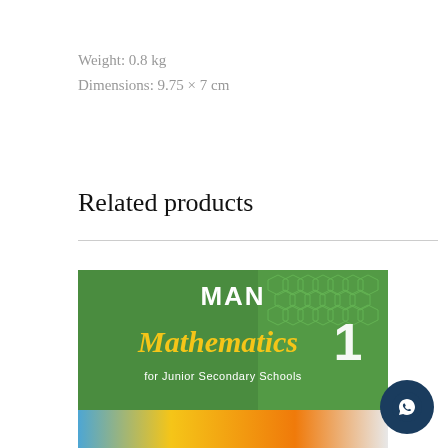Weight: 0.8 kg
Dimensions: 9.75 × 7 cm
Related products
[Figure (photo): Book cover for MAN Mathematics 1 for Junior Secondary Schools — green background with honeycomb pattern, yellow/orange cursive 'Mathematics' text, white bold 'MAN' and '1', subtitle 'for Junior Secondary Schools']